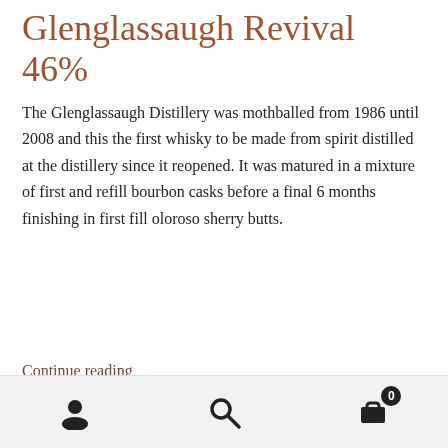Glenglassaugh Revival 46%
The Glenglassaugh Distillery was mothballed from 1986 until 2008 and this the first whisky to be made from spirit distilled at the distillery since it reopened. It was matured in a mixture of first and refill bourbon casks before a final 6 months finishing in first fill oloroso sherry butts.
Continue reading
Categories: Scotch, whisky
Tags: Glenglassaugh, Glenglassaugh Evolution, Glenglassaugh Revival, Single malt whisky, Speyside
Navigation icons: user, search, cart (0)